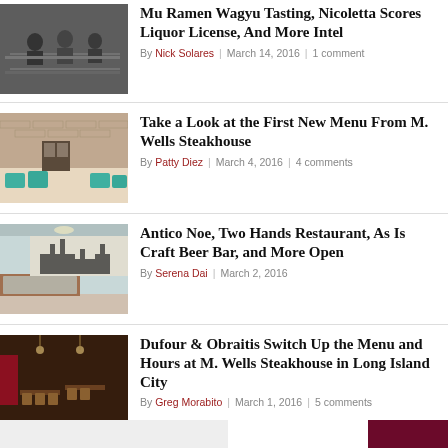[Figure (photo): Black and white photo of people dining at a restaurant]
Mu Ramen Wagyu Tasting, Nicoletta Scores Liquor License, And More Intel
By Nick Solares | March 14, 2016 | 1 comment
[Figure (photo): Photo of M. Wells Steakhouse interior with teal chairs and brick wall]
Take a Look at the First New Menu From M. Wells Steakhouse
By Patty Diez | March 4, 2016 | 4 comments
[Figure (photo): Photo of Antico Noe restaurant interior with mural on wall]
Antico Noe, Two Hands Restaurant, As Is Craft Beer Bar, and More Open
By Serena Dai | March 2, 2016
[Figure (photo): Photo of M. Wells Steakhouse dining room in Long Island City]
Dufour & Obraitis Switch Up the Menu and Hours at M. Wells Steakhouse in Long Island City
By Greg Morabito | March 1, 2016 | 5 comments